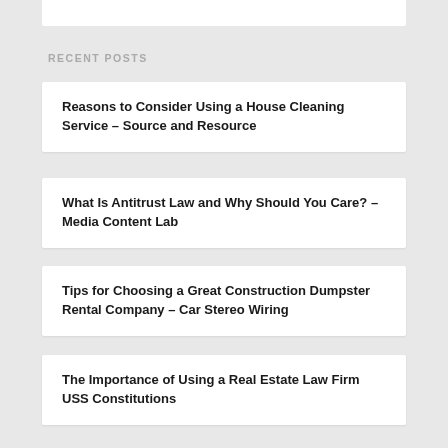RECENT POSTS
Reasons to Consider Using a House Cleaning Service – Source and Resource
What Is Antitrust Law and Why Should You Care? – Media Content Lab
Tips for Choosing a Great Construction Dumpster Rental Company – Car Stereo Wiring
The Importance of Using a Real Estate Law Firm USS Constitutions